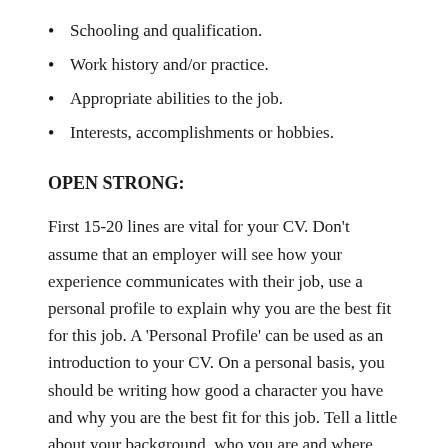Schooling and qualification.
Work history and/or practice.
Appropriate abilities to the job.
Interests, accomplishments or hobbies.
OPEN STRONG:
First 15-20 lines are vital for your CV. Don't assume that an employer will see how your experience communicates with their job, use a personal profile to explain why you are the best fit for this job. A ‘Personal Profile’ can be used as an introduction to your CV. On a personal basis, you should be writing how good a character you have and why you are the best fit for this job. Tell a little about your background, who you are and where you come from. On a professional basis, you have to write your experience in dentistry. You would elaborate when you qualified, how much experience you have, what areas of dentistry you would prefer, and what dental software you have a practice in or any other detail.